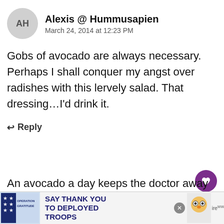Alexis @ Hummusapien
March 24, 2014 at 12:23 PM
Gobs of avocado are always necessary. Perhaps I shall conquer my angst over radishes with this lervely salad. That dressing…I'd drink it.
↩ Reply
Julia
March 24, 2014 at 06:14 PM
An avocado a day keeps the doctor away
[Figure (infographic): Advertisement banner: Operation Gratitude - SAY THANK YOU TO DEPLOYED TROOPS]
[Figure (infographic): What's Next callout with food image: Shaved Brussels...]